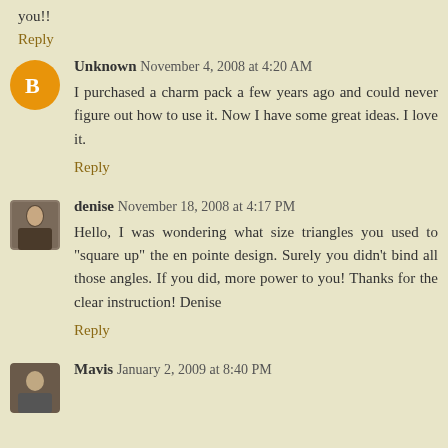you!!
Reply
Unknown November 4, 2008 at 4:20 AM
I purchased a charm pack a few years ago and could never figure out how to use it. Now I have some great ideas. I love it.
Reply
denise November 18, 2008 at 4:17 PM
Hello, I was wondering what size triangles you used to "square up" the en pointe design. Surely you didn't bind all those angles. If you did, more power to you! Thanks for the clear instruction! Denise
Reply
Mavis January 2, 2009 at 8:40 PM